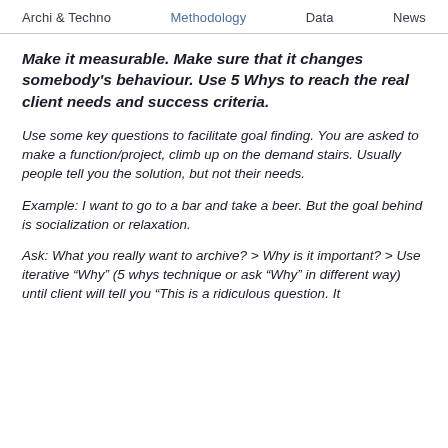Archi & Techno   Methodology   Data   News
Make it measurable. Make sure that it changes somebody's behaviour. Use 5 Whys to reach the real client needs and success criteria.
Use some key questions to facilitate goal finding. You are asked to make a function/project, climb up on the demand stairs. Usually people tell you the solution, but not their needs.
Example: I want to go to a bar and take a beer. But the goal behind is socialization or relaxation.
Ask: What you really want to archive? > Why is it important? > Use iterative “Why” (5 whys technique or ask “Why” in different way) until client will tell you “This is a ridiculous question. It